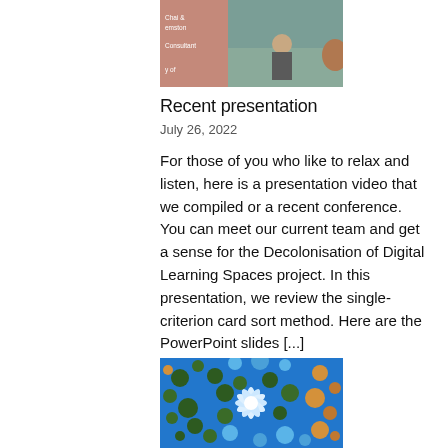[Figure (photo): A collage/screenshot showing a presentation slide with text including 'Consultant' and a woman standing outside, plus other images of people.]
Recent presentation
July 26, 2022
For those of you who like to relax and listen, here is a presentation video that we compiled or a recent conference. You can meet our current team and get a sense for the Decolonisation of Digital Learning Spaces project. In this presentation, we review the single-criterion card sort method. Here are the PowerPoint slides [...]
[Figure (photo): Abstract circular dot art with blue, green, orange, and white circles forming a flower-like pattern on a blue background.]